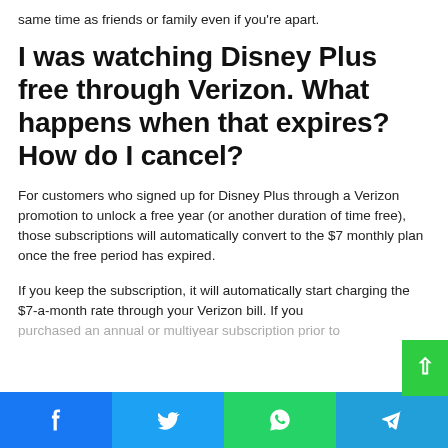same time as friends or family even if you're apart.
I was watching Disney Plus free through Verizon. What happens when that expires? How do I cancel?
For customers who signed up for Disney Plus through a Verizon promotion to unlock a free year (or another duration of time free), those subscriptions will automatically convert to the $7 monthly plan once the free period has expired.
If you keep the subscription, it will automatically start charging the $7-a-month rate through your Verizon bill. If you purchased an annual or multiyear subscription prior to